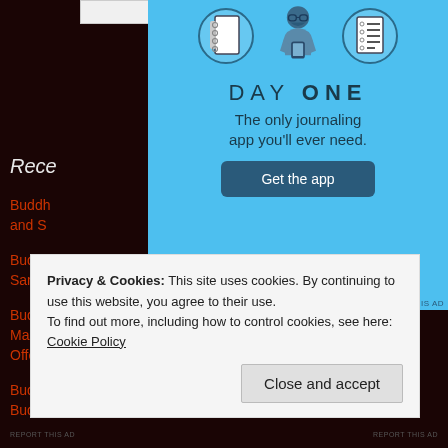[Figure (illustration): Day One journaling app advertisement with light blue background, showing icons of a notebook, a person holding a phone, and a list. Text reads DAY ONE, The only journaling app you'll ever need. with a Get the app button.]
Rece[nt Posts]
Buddh[ism 101: ...] and S[ankh...]
Buddh[ism 101: ...] Sankh[...]
Buddhism 101: Mandala Altar Offerings
Buddhism 101: Buddhist Ritual Objects
Privacy & Cookies: This site uses cookies. By continuing to use this website, you agree to their use.
To find out more, including how to control cookies, see here: Cookie Policy
Close and accept